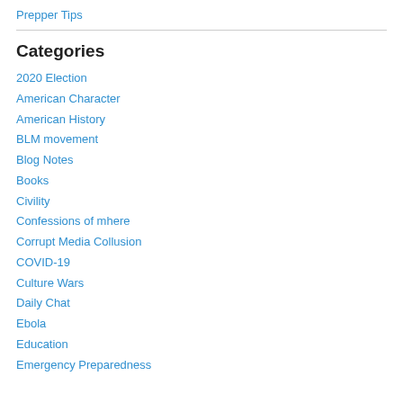Prepper Tips
Categories
2020 Election
American Character
American History
BLM movement
Blog Notes
Books
Civility
Confessions of mhere
Corrupt Media Collusion
COVID-19
Culture Wars
Daily Chat
Ebola
Education
Emergency Preparedness